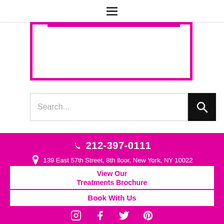[Figure (screenshot): Hamburger menu icon (three horizontal lines) centered at top of page]
[Figure (screenshot): Pink-bordered rectangular box with magenta top bar, white interior — likely a logo or image container]
[Figure (screenshot): Search bar with 'Search...' placeholder text and black search button with magnifying glass icon]
About Nicole Contos
📞 212-397-0111
📍 139 East 57th Street, 8th floor, New York, NY 10022
View Our Treatments Brochure
Book With Us
[Figure (screenshot): Social media icons: Instagram, Facebook, Twitter, Pinterest — white icons on pink background]